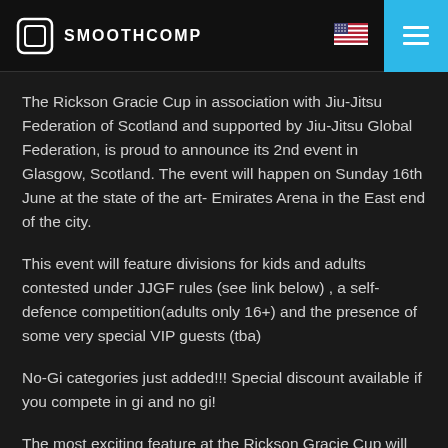SMOOTHCOMP
The Rickson Gracie Cup in association with Jiu-Jitsu Federation of Scotland and supported by Jiu-Jitsu Global Federation, is proud to announce its 2nd event in Glasgow, Scotland. The event will happen on Sunday 16th June at the state of the art- Emirates Arena in the East end of the city.
This event will feature divisions for kids and adults contested under JJGF rules (see link below) , a self-defence competition(adults only 16+) and the presence of some very special VIP guests (tba)
No-Gi categories just added!!! Special discount available if you compete in gi and no gi!
The most exciting feature at the Rickson Gracie Cup will be our use of the JJGF RULESET, which promotes more